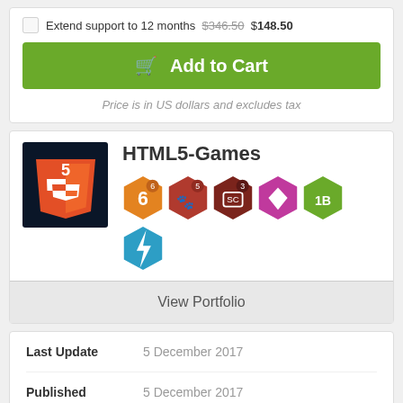Extend support to 12 months $346.50 $148.50
Add to Cart
Price is in US dollars and excludes tax
[Figure (logo): HTML5 shield logo with number 5, blue gradient on dark background]
HTML5-Games
[Figure (infographic): Six hexagonal badge icons with numbers: orange badge with 6, red badge with paw and 5, dark red badge with SC and 3, pink diamond badge, green badge with 1B, blue lightning badge]
View Portfolio
Last Update    5 December 2017
Published    5 December 2017
More Attributes ✓
© All Rights Reserved HTML5-Games